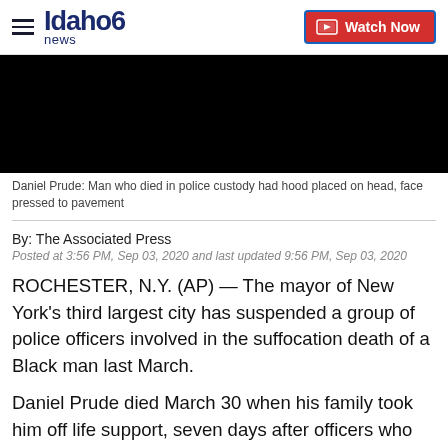Idaho News 6 | Watch Now
[Figure (photo): Black rectangular video thumbnail, fully blacked out]
Daniel Prude: Man who died in police custody had hood placed on head, face pressed to pavement
By: The Associated Press
Posted at 3:56 PM, Sep 03, 2020 and last updated 9:56 PM, Sep 03, 2020
ROCHESTER, N.Y. (AP) — The mayor of New York's third largest city has suspended a group of police officers involved in the suffocation death of a Black man last March.
Daniel Prude died March 30 when his family took him off life support, seven days after officers who